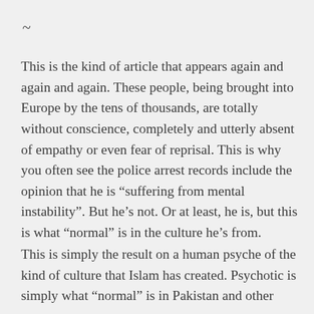~
This is the kind of article that appears again and again and again. These people, being brought into Europe by the tens of thousands, are totally without conscience, completely and utterly absent of empathy or even fear of reprisal. This is why you often see the police arrest records include the opinion that he is “suffering from mental instability”. But he’s not. Or at least, he is, but this is what “normal” is in the culture he’s from.
This is simply the result on a human psyche of the kind of culture that Islam has created. Psychotic is simply what “normal” is in Pakistan and other